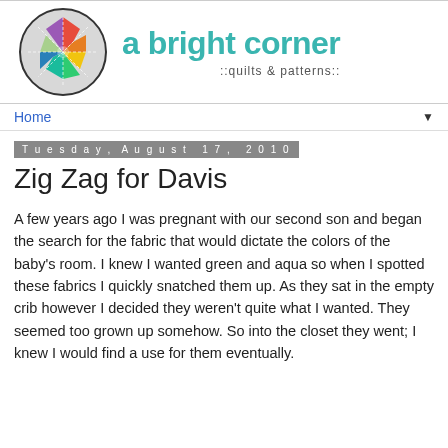[Figure (logo): Circular quilt logo with a colorful eight-pointed star pattern in rainbow colors on a grey background, next to the text 'a bright corner ::quilts & patterns::']
Home ▼
Tuesday, August 17, 2010
Zig Zag for Davis
A few years ago I was pregnant with our second son and began the search for the fabric that would dictate the colors of the baby's room. I knew I wanted green and aqua so when I spotted these fabrics I quickly snatched them up. As they sat in the empty crib however I decided they weren't quite what I wanted. They seemed too grown up somehow. So into the closet they went; I knew I would find a use for them eventually.